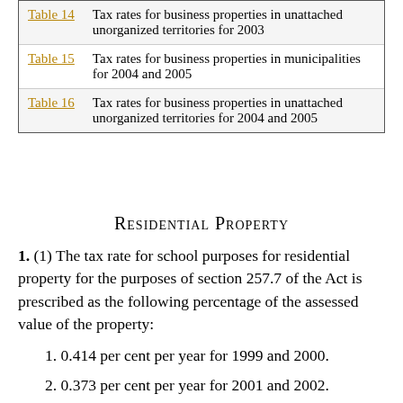| Reference | Description |
| --- | --- |
| Table 14 | Tax rates for business properties in unattached unorganized territories for 2003 |
| Table 15 | Tax rates for business properties in municipalities for 2004 and 2005 |
| Table 16 | Tax rates for business properties in unattached unorganized territories for 2004 and 2005 |
Residential Property
1. (1) The tax rate for school purposes for residential property for the purposes of section 257.7 of the Act is prescribed as the following percentage of the assessed value of the property:
1. 0.414 per cent per year for 1999 and 2000.
2. 0.373 per cent per year for 2001 and 2002.